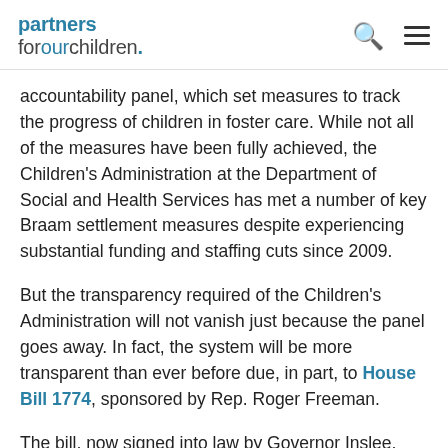partners forourchildren.
accountability panel, which set measures to track the progress of children in foster care. While not all of the measures have been fully achieved, the Children's Administration at the Department of Social and Health Services has met a number of key Braam settlement measures despite experiencing substantial funding and staffing cuts since 2009.
But the transparency required of the Children's Administration will not vanish just because the panel goes away. In fact, the system will be more transparent than ever before due, in part, to House Bill 1774, sponsored by Rep. Roger Freeman.
The bill, now signed into law by Governor Inslee, directs a university-based child welfare research entity, like Partners for Our Children (POC) based at the University